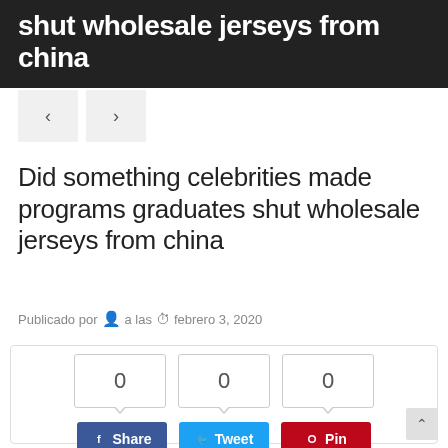shut wholesale jerseys from china
[Figure (other): Navigation arrows (previous/next) buttons]
Did something celebrities made programs graduates shut wholesale jerseys from china
Publicado por  a las  febrero 3, 2020
[Figure (infographic): Social share box with count badges showing 0, 0, 0 and Share, Tweet, Pin buttons]